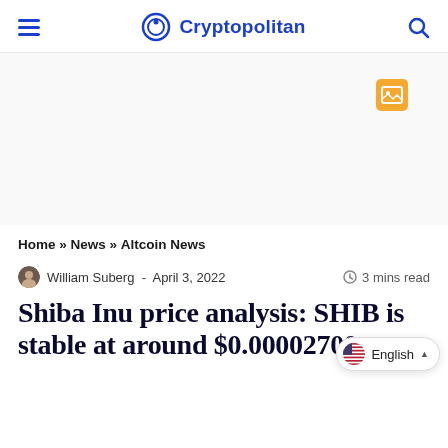Cryptopolitan
[Figure (other): Broken/placeholder image icon (orange square) in advertisement area]
Home » News » Altcoin News
William Suberg  ·  April 3, 2022   3 mins read
Shiba Inu price analysis: SHIB is stable at around $0.00002700